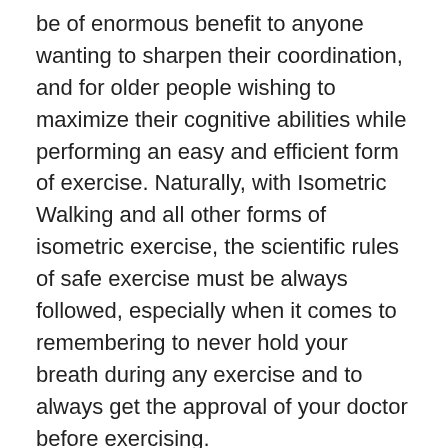be of enormous benefit to anyone wanting to sharpen their coordination, and for older people wishing to maximize their cognitive abilities while performing an easy and efficient form of exercise. Naturally, with Isometric Walking and all other forms of isometric exercise, the scientific rules of safe exercise must be always followed, especially when it comes to remembering to never hold your breath during any exercise and to always get the approval of your doctor before exercising.
To summarize our evaluation of Isometric Walking, we give it a huge thumbs up, and very much look forward to seeing how this develops. From what we have seen so far, we can easily envision training courses for users, openings